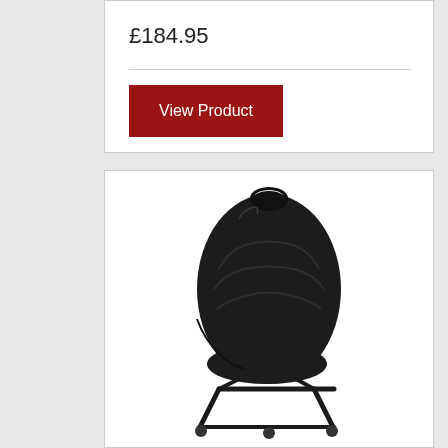£184.95
[Figure (photo): A large black padded cover/bag on a wheeled metal stand/trolley with black frame and small caster wheels at the bottom]
View Product